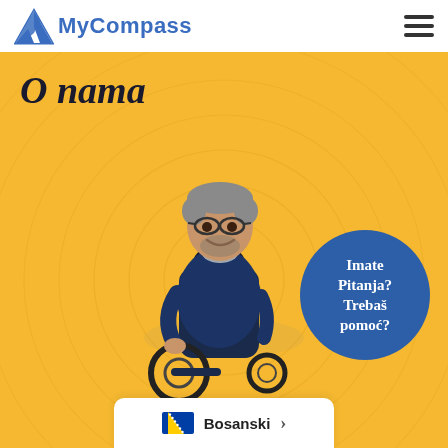MyCompass
O nama
[Figure (photo): A man with glasses sitting in a motorized wheelchair, smiling, wearing a dark navy jacket, against a yellow background with decorative concentric circles.]
Imate Pitanja? Trebaš pomoć?
Bosanski